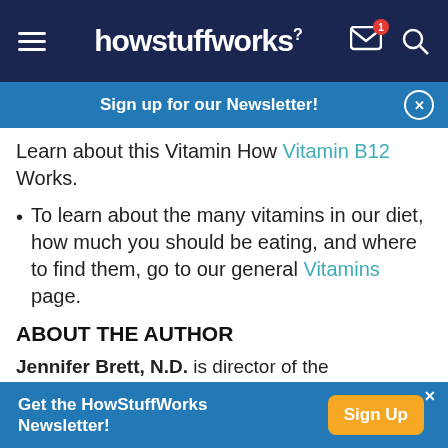howstuffworks
Sign up for our Newsletter!
Learn about this Vitamin How Vitamin B12 Works.
To learn about the many vitamins in our diet, how much you should be eating, and where to find them, go to our general Vitamins page.
ABOUT THE AUTHOR
Jennifer Brett, N.D. is director of the Acupuncture Institute for the University of Bridgeport, where she also serves on the faculty for the College of Naturopathic Medicine. A recognized leader in her field with an
[Figure (screenshot): Bottom advertisement banner: Get the HowStuffWorks Newsletter! with Sign Up button]